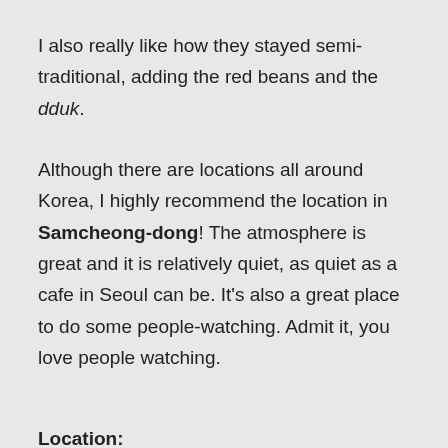I also really like how they stayed semi-traditional, adding the red beans and the dduk.
Although there are locations all around Korea, I highly recommend the location in Samcheong-dong! The atmosphere is great and it is relatively quiet, as quiet as a cafe in Seoul can be. It's also a great place to do some people-watching. Admit it, you love people watching.
Location:
Samcheong-dong: It is located right next to the store that only sells rooster merchandise, you know the place. 🐓🐓🐓🐓🐓
It is about a 15-20 minute walk from Anguk Station (line 3), which is where Insa-dong is located and nearby Gyungbokgung Palace, so it's a perfect place to go to round out your day of